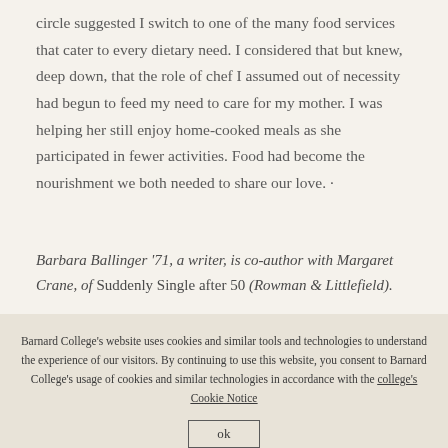circle suggested I switch to one of the many food services that cater to every dietary need. I considered that but knew, deep down, that the role of chef I assumed out of necessity had begun to feed my need to care for my mother. I was helping her still enjoy home-cooked meals as she participated in fewer activities. Food had become the nourishment we both needed to share our love. ·
Barbara Ballinger '71, a writer, is co-author with Margaret Crane, of Suddenly Single after 50 (Rowman & Littlefield).
Barnard College's website uses cookies and similar tools and technologies to understand the experience of our visitors. By continuing to use this website, you consent to Barnard College's usage of cookies and similar technologies in accordance with the college's Cookie Notice